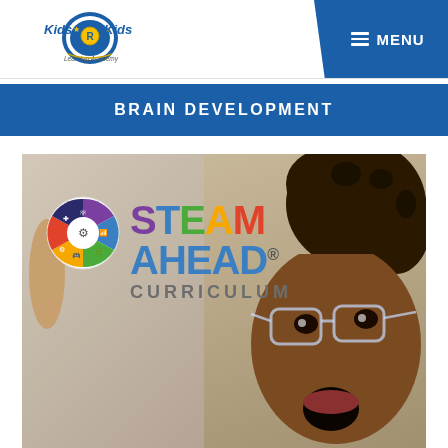[Figure (logo): Kids R Kids Learning Academy logo with shield and star emblem]
[Figure (other): MENU navigation button with hamburger icon on blue angled background]
BRAIN DEVELOPMENT
[Figure (photo): STEAM AHEAD Curriculum logo overlaid on photo of excited young Black child wearing safety goggles with mouth open in amazement]